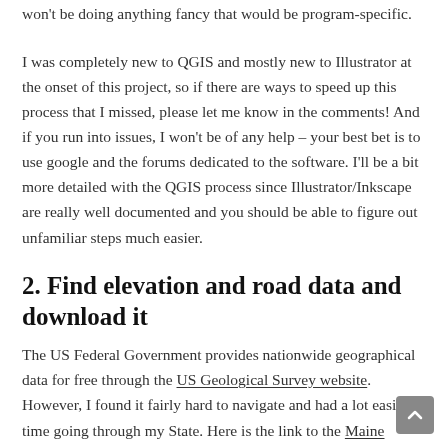won't be doing anything fancy that would be program-specific.
I was completely new to QGIS and mostly new to Illustrator at the onset of this project, so if there are ways to speed up this process that I missed, please let me know in the comments! And if you run into issues, I won't be of any help – your best bet is to use google and the forums dedicated to the software. I'll be a bit more detailed with the QGIS process since Illustrator/Inkscape are really well documented and you should be able to figure out unfamiliar steps much easier.
2. Find elevation and road data and download it
The US Federal Government provides nationwide geographical data for free through the US Geological Survey website. However, I found it fairly hard to navigate and had a lot easier time going through my State. Here is the link to the Maine Office of GIS (Geographical Information System) that we'll be using. Every state should have a similar website, and internationally I expect most developed countries to also provide this sort of data.